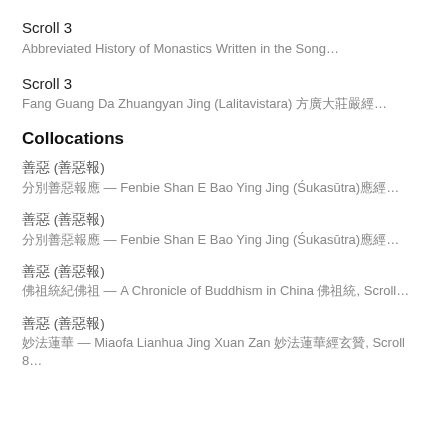Scroll 3
Abbreviated History of Monastics Written in the Song…
Scroll 3
Fang Guang Da Zhuangyan Jing (Lalitavistara) 方廣大莊嚴經…
Collocations
善惡 (善惡報)
分別善惡報應經 — Fenbie Shan E Bao Ying Jing (Śukasūtra)應經…
善惡 (善惡報)
分別善惡報應經 — Fenbie Shan E Bao Ying Jing (Śukasūtra)應經…
善惡 (善惡報)
佛祖統紀 — A Chronicle of Buddhism in China 佛祖統, Scroll…
善惡 (善惡報)
妙法蓮華經玄贊 — Miaofa Lianhua Jing Xuan Zan 妙法蓮華經玄贊, Scroll 8…